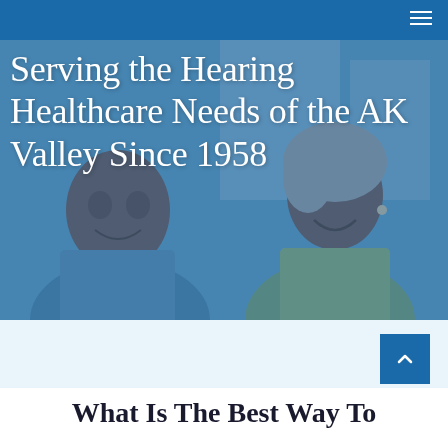Navigation bar with hamburger menu
[Figure (photo): Two older adults smiling and laughing together, with a blue overlay tint on the background photo]
Serving the Hearing Healthcare Needs of the AK Valley Since 1958
What Is The Best Way To